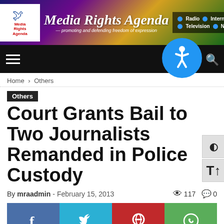[Figure (logo): Media Rights Agenda website header banner with logo, site name, tagline, and navigation links (Radio, Internet, Television, Newspaper)]
[Figure (infographic): Black navigation bar with hamburger menu, blue accessibility icon (wheelchair symbol), and search icon]
Home › Others
Others
Court Grants Bail to Two Journalists Remanded in Police Custody
By mraadmin - February 15, 2013  👁 117  💬 0
[Figure (infographic): Social sharing buttons row: Facebook (blue), Twitter (cyan), Pinterest (red), WhatsApp (green)]